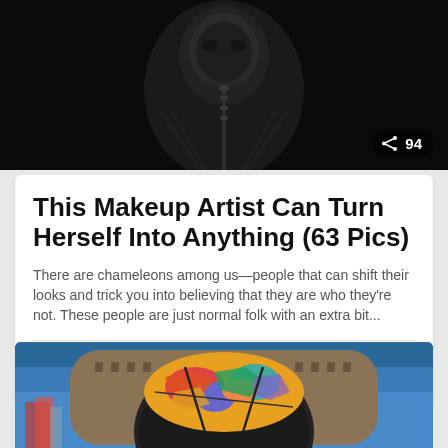[Figure (photo): Dark close-up photo of a person with dramatic makeup against black background, with a share button showing 94 shares]
This Makeup Artist Can Turn Herself Into Anything (63 Pics)
There are chameleons among us—people that can shift their looks and trick you into believing that they are who they're not. These people are just normal folk with an extra bit...
132 points  39 comments
[Figure (photo): Nighttime photo of a large modern building with an illuminated arch entrance covered in colorful artwork, against a blue dusk sky]